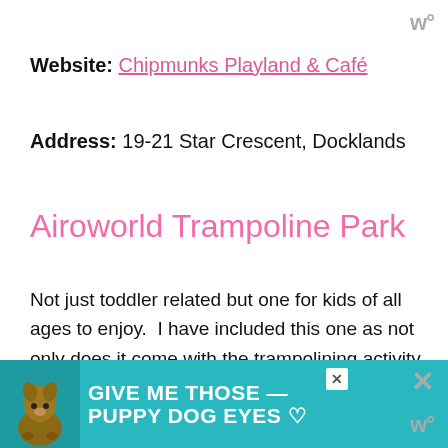w°
Website: Chipmunks Playland & Café
Address: 19-21 Star Crescent, Docklands
Airoworld Trampoline Park
Not just toddler related but one for kids of all ages to enjoy.  I have included this one as not only does it come with the trampolining activity, but there are also over inflated structures and bouncy slides to slide down, so are perfect for the
[Figure (infographic): Advertisement banner at bottom of page showing a dog with text 'GIVE ME THOSE PUPPY DOG EYES' on teal background with heart icon and close button]
w°